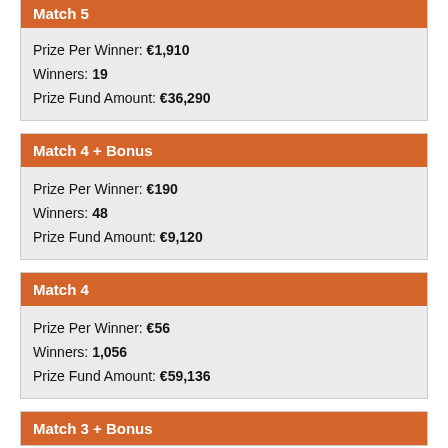Match 5
Prize Per Winner: €1,910
Winners: 19
Prize Fund Amount: €36,290
Match 4 + Bonus
Prize Per Winner: €190
Winners: 48
Prize Fund Amount: €9,120
Match 4
Prize Per Winner: €56
Winners: 1,056
Prize Fund Amount: €59,136
Match 3 + Bonus